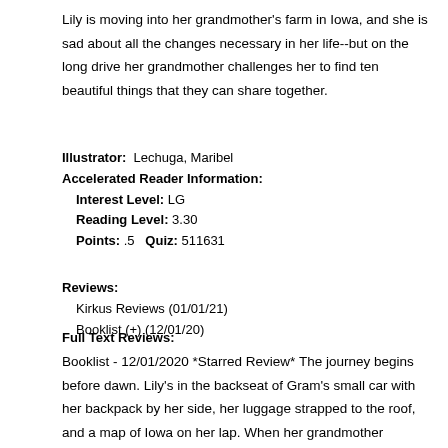Lily is moving into her grandmother's farm in Iowa, and she is sad about all the changes necessary in her life--but on the long drive her grandmother challenges her to find ten beautiful things that they can share together.
Illustrator: Lechuga, Maribel
Accelerated Reader Information:
  Interest Level: LG
  Reading Level: 3.30
  Points: .5  Quiz: 511631
Reviews:
  Kirkus Reviews (01/01/21)
  Booklist (+) (12/01/20)
Full Text Reviews:
Booklist - 12/01/2020 *Starred Review* The journey begins before dawn. Lily's in the backseat of Gram's small car with her backpack by her side, her luggage strapped to the roof, and a map of Iowa on her lap. When her grandmother proposes that they find 10 beautiful things along the way, Lily is doubtful. "You'd be surprised," says Gram. Number one is sunrise. It's a long day, and even the crackers Lily eats don't fill the hollow place inside her. Still, she and Gram call out each new beauty: a wind farm, a red-winged blackbird, and flashes of lightning. When they reach Gram's farmhouse, she hugs Lily and whispers, "We're ten." And Lily relaxes, knowing she belongs with Gram for now. While the child is clearly carrying a burden, her grandmother's game gives her a technique for looking outside herself and connecting with the world. The looming question, why Lily needs to live with her grandmother, goes unanswered, allowing space for